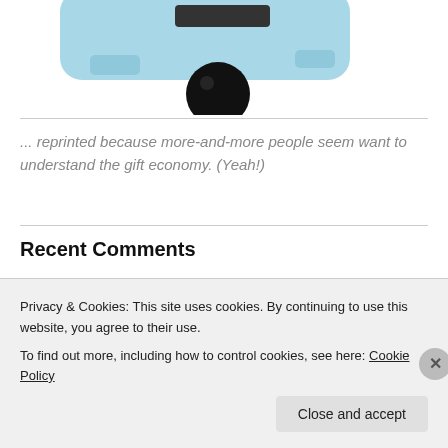[Figure (photo): Partial image of a light blue toy/object with a black circular element, cropped at top of page]
... reprinted because more-and-more people seem want to understand the gift economy. (Yeah!)
Recent Comments
pret1102 on We Pay, They Play. What's So “Gift Economy” About
Privacy & Cookies: This site uses cookies. By continuing to use this website, you agree to their use.
To find out more, including how to control cookies, see here: Cookie Policy
Close and accept